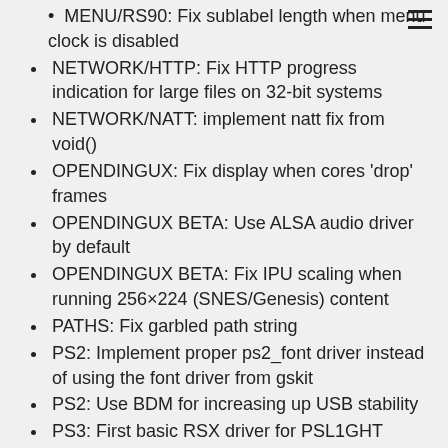MENU/RS90: Fix sublabel length when menu clock is disabled
NETWORK/HTTP: Fix HTTP progress indication for large files on 32-bit systems
NETWORK/NATT: implement natt fix from void()
OPENDINGUX: Fix display when cores 'drop' frames
OPENDINGUX BETA: Use ALSA audio driver by default
OPENDINGUX BETA: Fix IPU scaling when running 256×224 (SNES/Genesis) content
PATHS: Fix garbled path string
PS2: Implement proper ps2_font driver instead of using the font driver from gskit
PS2: Use BDM for increasing up USB stability
PS3: First basic RSX driver for PSL1GHT
RS90: Initial port
RS90: Fix offset of OSD text
RS90: Disable menu clock by default
RS90: Hide 'Bilinear Filtering' video option